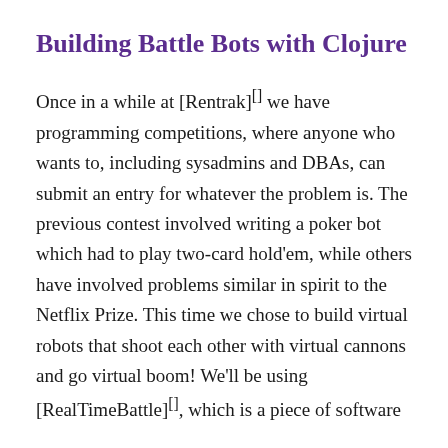Building Battle Bots with Clojure
Once in a while at [Rentrak][] we have programming competitions, where anyone who wants to, including sysadmins and DBAs, can submit an entry for whatever the problem is. The previous contest involved writing a poker bot which had to play two-card hold'em, while others have involved problems similar in spirit to the Netflix Prize. This time we chose to build virtual robots that shoot each other with virtual cannons and go virtual boom! We'll be using [RealTimeBattle][], which is a piece of software